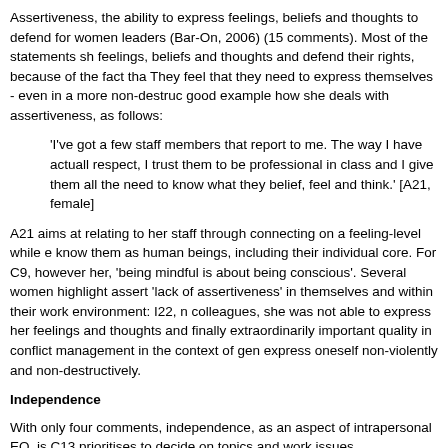Assertiveness, the ability to express feelings, beliefs and thoughts to defend for women leaders (Bar-On, 2006) (15 comments). Most of the statements sh feelings, beliefs and thoughts and defend their rights, because of the fact tha They feel that they need to express themselves - even in a more non-destruc good example how she deals with assertiveness, as follows:
'I've got a few staff members that report to me. The way I have actuall respect, I trust them to be professional in class and I give them all the need to know what they belief, feel and think.' [A21, female]
A21 aims at relating to her staff through connecting on a feeling-level while e know them as human beings, including their individual core. For C9, however her, 'being mindful is about being conscious'. Several women highlight assert 'lack of assertiveness' in themselves and within their work environment: I22, n colleagues, she was not able to express her feelings and thoughts and finally extraordinarily important quality in conflict management in the context of gen express oneself non-violently and non-destructively.
Independence
With only four comments, independence, as an aspect of intrapersonal EQ, is C13 prioritises to decide on topics and work issues independently: 'I would d it links to my professional career'. However, she realises during the interview although she would like to.
This might be related to the fact that women leaders seem to be insecure an even 'hostile', impacting negatively on mental health and well-being:
'If you are in a very toxic, poisonous environment you need to ask you toxic for you?' If you're not getting anything out of it maybe you shoul